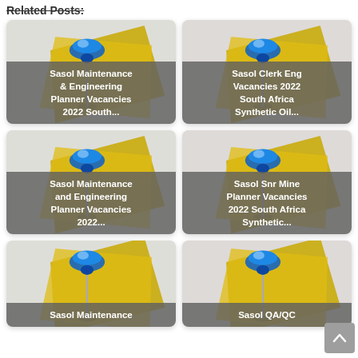Related Posts:
[Figure (illustration): Thumbnail card with a blue pushpin on yellow sticky note - Sasol Maintenance & Engineering Planner Vacancies 2022 South...]
[Figure (illustration): Thumbnail card with a blue pushpin on yellow sticky note - Sasol Clerk Eng Vacancies 2022 South Africa Synthetic Oil...]
[Figure (illustration): Thumbnail card with a blue pushpin on yellow sticky note - Sasol Maintenance and Engineering Planner Vacancies 2022...]
[Figure (illustration): Thumbnail card with a blue pushpin on yellow sticky note - Sasol Snr Mine Planner Vacancies 2022 South Africa Synthetic...]
[Figure (illustration): Thumbnail card with a blue pushpin on yellow sticky note - Sasol Maintenance]
[Figure (illustration): Thumbnail card with a blue pushpin on yellow sticky note - Sasol QA/QC]